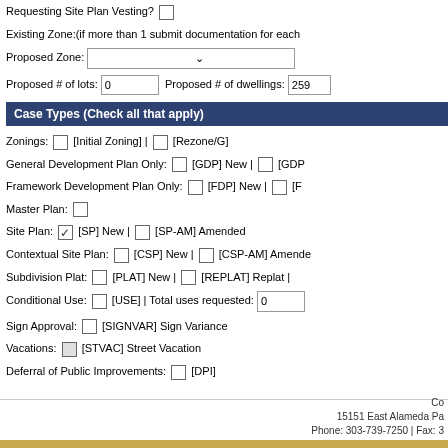Requesting Site Plan Vesting? [ ]
Existing Zone:(if more than 1 submit documentation for each
Proposed Zone: [dropdown]
Proposed # of lots: 0   Proposed # of dwellings: 259
Case Types (Check all that apply)
Zonings: [ ] [Initial Zoning] | [ ] [Rezone/G]
General Development Plan Only: [ ] [GDP] New | [ ] [GDP
Framework Development Plan Only: [ ] [FDP] New | [ ] [F
Master Plan: [ ]
Site Plan: [✓] [SP] New | [ ] [SP-AM] Amended
Contextual Site Plan: [ ] [CSP] New | [ ] [CSP-AM] Amended
Subdivision Plat: [ ] [PLAT] New | [ ] [REPLAT] Replat |
Conditional Use: [ ] [USE] | Total uses requested: 0
Sign Approval: [ ] [SIGNVAR] Sign Variance
Vacations: [ ] [STVAC] Street Vacation
Deferral of Public Improvements: [ ] [DPI]
Co
15151 East Alameda Pa
Phone: 303-739-7250 | Fax: 3